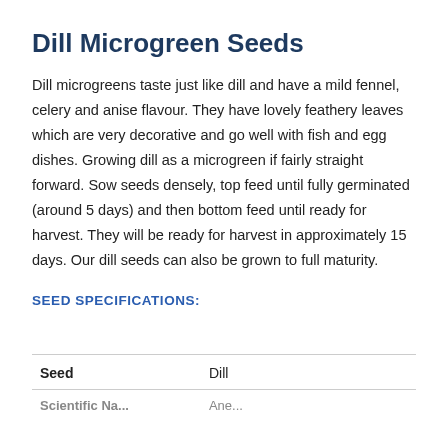Dill Microgreen Seeds
Dill microgreens taste just like dill and have a mild fennel, celery and anise flavour. They have lovely feathery leaves which are very decorative and go well with fish and egg dishes. Growing dill as a microgreen if fairly straight forward. Sow seeds densely, top feed until fully germinated (around 5 days) and then bottom feed until ready for harvest. They will be ready for harvest in approximately 15 days. Our dill seeds can also be grown to full maturity.
SEED SPECIFICATIONS:
| Seed |  |
| --- | --- |
| Seed | Dill |
| Scientific Name | Anethum graveolens |